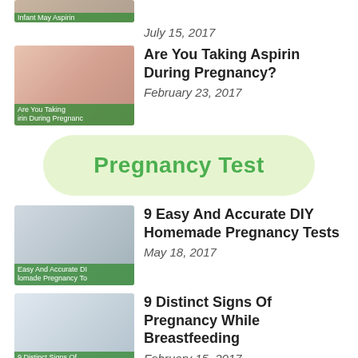July 15, 2017
[Figure (photo): Thumbnail image for aspirin during pregnancy article]
Are You Taking Aspirin During Pregnancy?
February 23, 2017
Pregnancy Test
[Figure (photo): Thumbnail image for DIY homemade pregnancy tests article]
9 Easy And Accurate DIY Homemade Pregnancy Tests
May 18, 2017
[Figure (photo): Thumbnail image for signs of pregnancy while breastfeeding article]
9 Distinct Signs Of Pregnancy While Breastfeeding
February 15, 2017